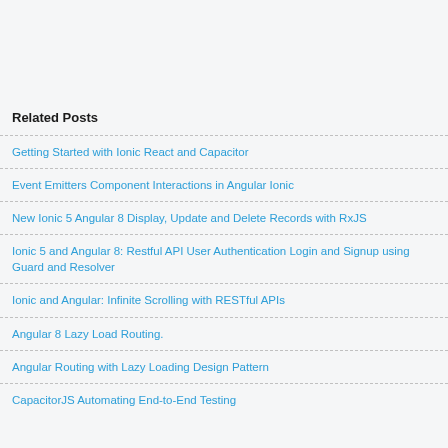Related Posts
Getting Started with Ionic React and Capacitor
Event Emitters Component Interactions in Angular Ionic
New Ionic 5 Angular 8 Display, Update and Delete Records with RxJS
Ionic 5 and Angular 8: Restful API User Authentication Login and Signup using Guard and Resolver
Ionic and Angular: Infinite Scrolling with RESTful APIs
Angular 8 Lazy Load Routing.
Angular Routing with Lazy Loading Design Pattern
CapacitorJS Automating End-to-End Testing